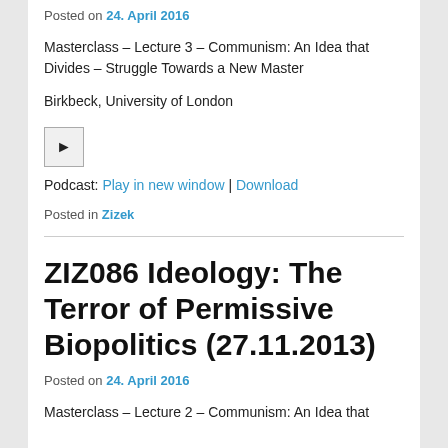Posted on 24. April 2016
Masterclass – Lecture 3 – Communism: An Idea that Divides – Struggle Towards a New Master
Birkbeck, University of London
[Figure (other): Audio play button icon]
Podcast: Play in new window | Download
Posted in Zizek
ZIZ086 Ideology: The Terror of Permissive Biopolitics (27.11.2013)
Posted on 24. April 2016
Masterclass – Lecture 2 – Communism: An Idea that